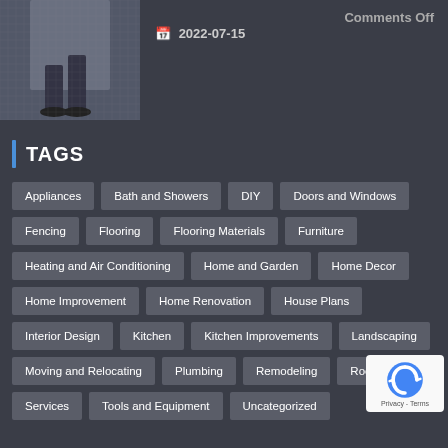[Figure (photo): Person bending over on a dark textured surface, partial view of legs and feet]
📅 2022-07-15
Comments Off
TAGS
Appliances
Bath and Showers
DIY
Doors and Windows
Fencing
Flooring
Flooring Materials
Furniture
Heating and Air Conditioning
Home and Garden
Home Decor
Home Improvement
Home Renovation
House Plans
Interior Design
Kitchen
Kitchen Improvements
Landscaping
Moving and Relocating
Plumbing
Remodeling
Roofing
Services
Tools and Equipment
Uncategorized